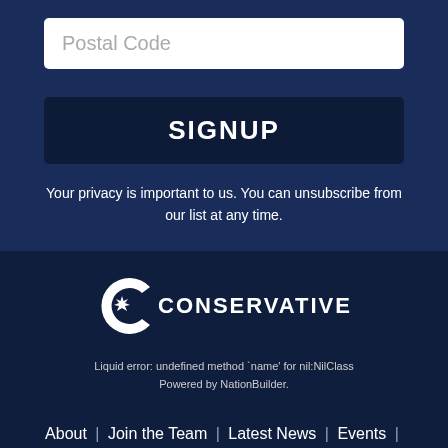[Figure (screenshot): Postal Code input field, white rounded rectangle with placeholder text]
[Figure (screenshot): SIGNUP button, dark navy blue rounded rectangle with white bold uppercase text]
Your privacy is important to us. You can unsubscribe from our list at any time.
[Figure (logo): Conservative Party logo: stylized C with maple leaf, text CONSERVATIVE]
Liquid error: undefined method `name' for nil:NilClass
Powered by NationBuilder.
About | Join the Team | Latest News | Events | Donate | Contact | Home
The Conservative Case for
[Figure (illustration): Circular icon with red maple leaf on white background, partial view at bottom right]